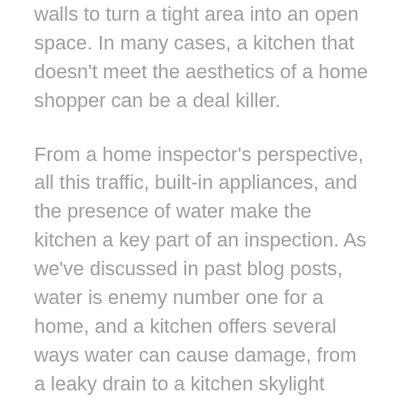walls to turn a tight area into an open space. In many cases, a kitchen that doesn't meet the aesthetics of a home shopper can be a deal killer.
From a home inspector's perspective, all this traffic, built-in appliances, and the presence of water make the kitchen a key part of an inspection. As we've discussed in past blog posts, water is enemy number one for a home, and a kitchen offers several ways water can cause damage, from a leaky drain to a kitchen skylight that's letting in rain.
Whether a kitchen has an expensive granite countertop or an open space concept is not of interest to a home inspector, who will be making sure appliances are functional, electrical outlets are properly placed, flowing water stays within pipes, drawers smoothly slide open, and cabinets are free from...